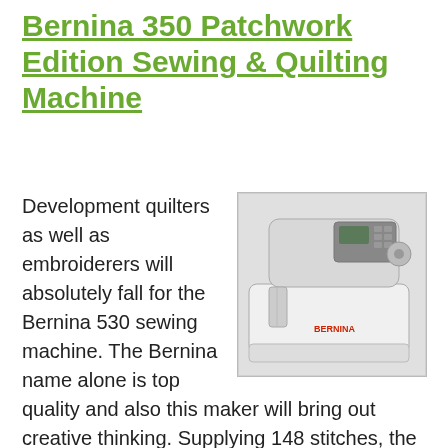Bernina 350 Patchwork Edition Sewing & Quilting Machine
[Figure (photo): Photo of a white Bernina sewing machine with gray top panel, LCD display, and red BERNINA logo on the side.]
Development quilters as well as embroiderers will absolutely fall for the Bernina 530 sewing machine. The Bernina name alone is top quality and also this maker will bring out creative thinking. Supplying 148 stitches, the advanced drain can start any type of needlework, quilting job while still having the functionality of all basic common sewing.